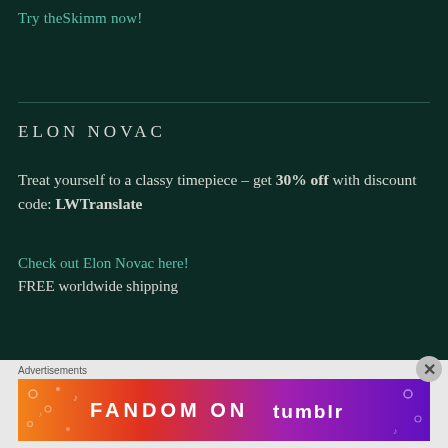Try theSkimm now!
ELON NOVAC
Treat yourself to a classy timepiece – get 30% off with discount code: LWTranslate
Check out Elon Novac here!
FREE worldwide shipping
Advertisements
[Figure (infographic): Fandom on Tumblr colorful banner advertisement with orange-to-purple gradient background and white decorative icons]